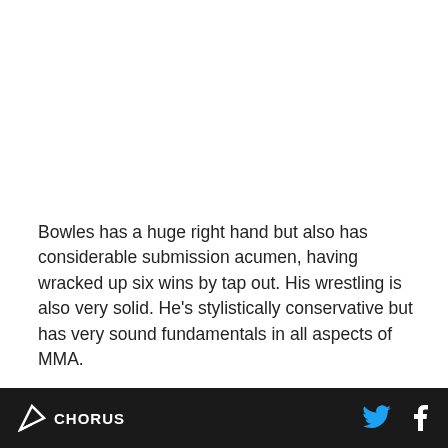Bowles has a huge right hand but also has considerable submission acumen, having wracked up six wins by tap out. His wrestling is also very solid. He's stylistically conservative but has very sound fundamentals in all aspects of MMA.
This could be Faber's last stand as a title contender. He badly needs a win to reclaim his position as one of the biggest little men in the sport. Bowles is an excellent fighter, but Faber's got his back against the wall here. Look for Faber to get a submission or take a
CHORUS